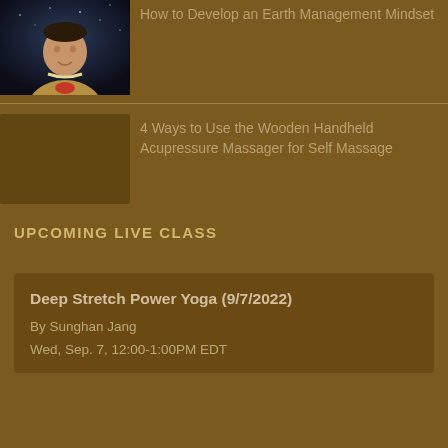[Figure (photo): Portrait photo of a smiling older Asian man in a light-colored top against a dark starry background]
How to Develop an Earth Management Mindset
4 Ways to Use the Wooden Handheld Acupressure Massager for Self Massage
UPCOMING LIVE CLASS
Deep Stretch Power Yoga (9/7/2022)
By Sunghan Jang
Wed, Sep. 7, 12:00-1:00PM EDT